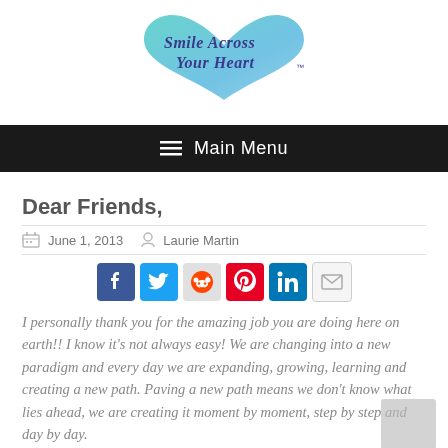[Figure (logo): Smile Across Your Heart logo with teal watercolor heart and cursive text]
Main Menu
Dear Friends,
June 1, 2013   Laurie Martin
[Figure (infographic): Social media share buttons: Facebook, Twitter, Reddit, Pinterest, LinkedIn, Email]
I personally thank you for the amazing job you are doing here on earth!! I know it's not always easy! We are changing into a new paradigm and every day we are expanding, growing, learning and creating a new path. Paving a new path means we don't know what lies ahead, we are creating it moment by moment, step by step and day by day.